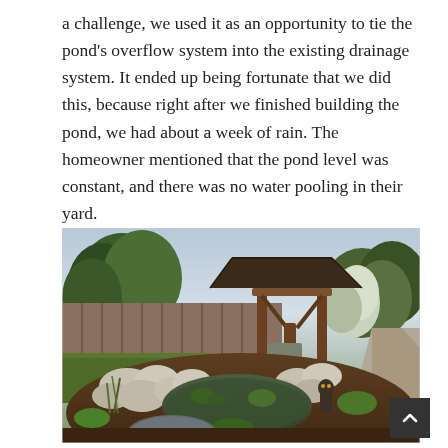a challenge, we used it as an opportunity to tie the pond's overflow system into the existing drainage system. It ended up being fortunate that we did this, because right after we finished building the pond, we had about a week of rain. The homeowner mentioned that the pond level was constant, and there was no water pooling in their yard.
[Figure (photo): Outdoor backyard scene showing a decorative pond surrounded by large rocks, aquatic plants, and mulch. In the background is a wooden pergola/gazebo structure with a dark roof, green trees, a wooden privacy fence, and a concrete pathway. A bird statue (owl) is visible near the pond's edge, and a plastic trash can lid is visible in the foreground.]